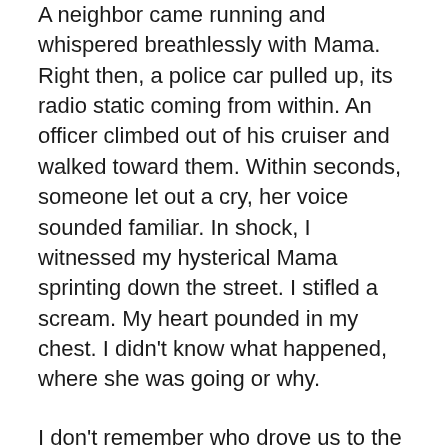A neighbor came running and whispered breathlessly with Mama. Right then, a police car pulled up, its radio static coming from within. An officer climbed out of his cruiser and walked toward them. Within seconds, someone let out a cry, her voice sounded familiar. In shock, I witnessed my hysterical Mama sprinting down the street. I stifled a scream. My heart pounded in my chest. I didn't know what happened, where she was going or why.
I don't remember who drove us to the hospital. But once we arrived, a nurse pointed down the hall to where they cared for her. Except I couldn't go to see her because I was too young.
I had to see her.
My legs trembled as I crept to her room and peered through the glass-paned door on my tiptoes. First, I saw a